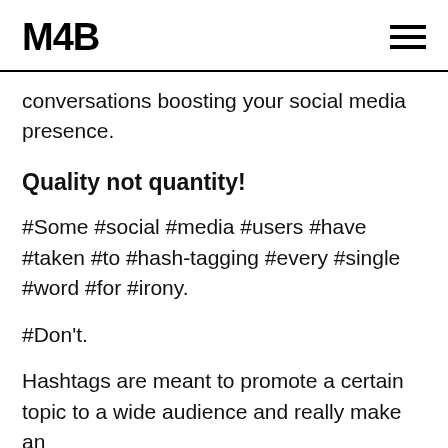M4B
conversations boosting your social media presence.
Quality not quantity!
#Some #social #media #users #have #taken #to #hash-tagging #every #single #word #for #irony.
#Don't.
Hashtags are meant to promote a certain topic to a wide audience and really make an